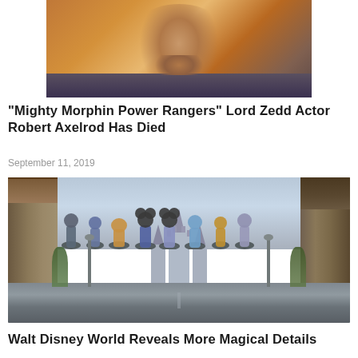[Figure (photo): Close-up photo of an elderly man with wrinkled face against an orange/brown background]
“Mighty Morphin Power Rangers” Lord Zedd Actor Robert Axelrod Has Died
September 11, 2019
[Figure (photo): Disney World's Magic Kingdom with Cinderella Castle in the background, Mickey Mouse and Disney characters in blue and silver outfits on Main Street]
Walt Disney World Reveals More Magical Details